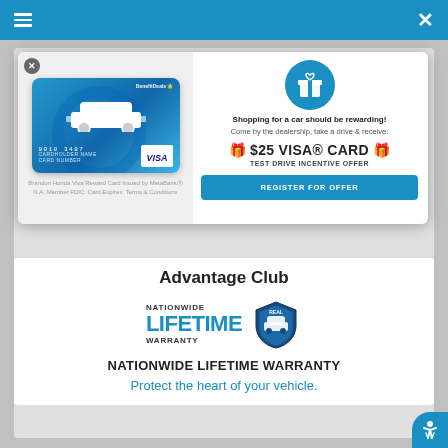≡  ×
[Figure (screenshot): Honda Visa Reward Card image with blue gradient background and white car silhouette]
Brandon Honda Visa Reward Card Issued by MetaBankⓇ N.A. Member FDIC Card Expires Terms & Conditions
[Figure (illustration): Blue circle icon with gift/reward box symbol]
Shopping for a car should be rewarding!
Come by the dealership, take a drive & receive:
🎁 $25 VISA® CARD 🎁
TEST DRIVE INCENTIVE OFFER
REGISTER FOR OFFER
Advantage Club
[Figure (logo): Nationwide Lifetime Warranty logo with shield badge]
NATIONWIDE LIFETIME WARRANTY
Protect the heart of your vehicle.